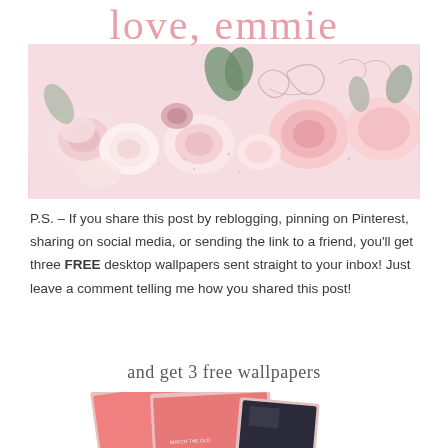love, emmie
[Figure (illustration): Decorative floral arrangement with blush pink roses, cream flowers, green leaves, and rose gold glitter butterfly/swirl accents on a white background.]
P.S. – If you share this post by reblogging, pinning on Pinterest, sharing on social media, or sending the link to a friend, you'll get three FREE desktop wallpapers sent straight to your inbox! Just leave a comment telling me how you shared this post!
and get 3 free wallpapers
[Figure (photo): Preview of three desktop wallpaper images fanned out, showing salmon/coral pink background wallpapers with decorative elements, partially cropped at bottom of page.]